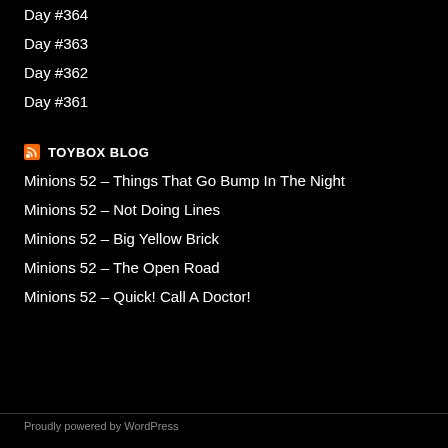Day #364
Day #363
Day #362
Day #361
TOYBOX BLOG
Minions 52 – Things That Go Bump In The Night
Minions 52 – Not Doing Lines
Minions 52 – Big Yellow Brick
Minions 52 – The Open Road
Minions 52 – Quick! Call A Doctor!
Proudly powered by WordPress